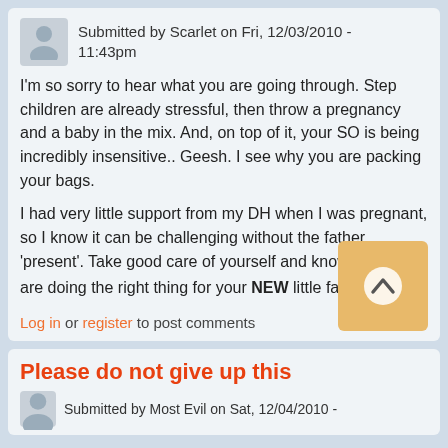Submitted by Scarlet on Fri, 12/03/2010 - 11:43pm
I'm so sorry to hear what you are going through. Step children are already stressful, then throw a pregnancy and a baby in the mix. And, on top of it, your SO is being incredibly insensitive.. Geesh. I see why you are packing your bags.
I had very little support from my DH when I was pregnant, so I know it can be challenging without the father 'present'. Take good care of yourself and know that you are doing the right thing for your NEW little family.
Log in or register to post comments
Please do not give up this
Submitted by Most Evil on Sat, 12/04/2010 -